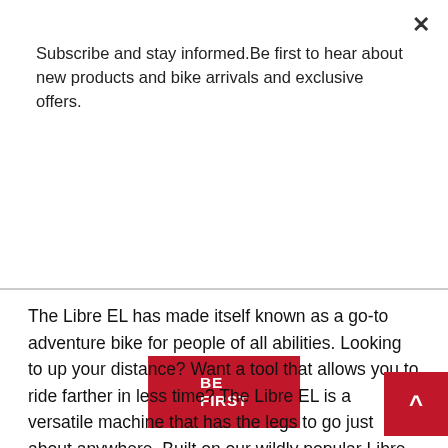Subscribe and stay informed.Be first to hear about new products and bike arrivals and exclusive offers.
[Figure (other): Red 'BE FIRST' call-to-action button]
The Libre EL has made itself known as a go-to adventure bike for people of all abilities. Looking to up your distance? Want a tool that allows you to ride farther in less time? The Libre EL is a versatile machine that has the legs to go just about anywhere. Built on our wildly popular Libre platform, the Libre EL features an aluminum frame and Verso Full Carbon Flat Mount Disc fork. Like its CR DL sibling, it runs a gravel-specific drivetrain and brakes, ensuring the grime that you'll inevitably get from a mucky ride doesn't affect shifting and braking performance. Unlike its analog sibling it gets a power boost from a Shimano motor and internal battery. In other words, it'll get you to the top of that insanely steep mountain you've been eyeing up, and let you enjoy the benefits of rippin' gravel on the way down!